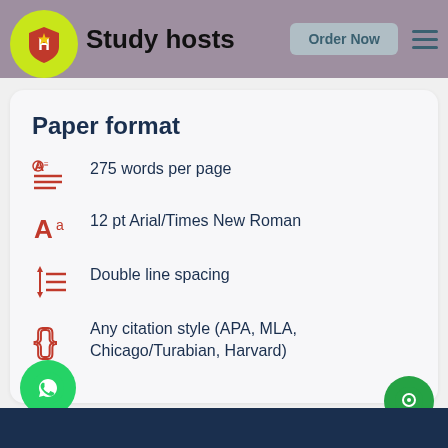Study hosts — Order Now
Paper format
275 words per page
12 pt Arial/Times New Roman
Double line spacing
Any citation style (APA, MLA, Chicago/Turabian, Harvard)